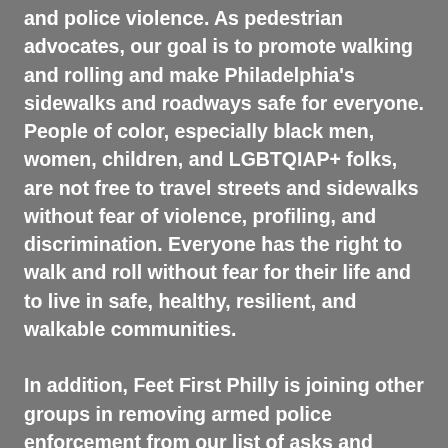and police violence. As pedestrian advocates, our goal is to promote walking and rolling and make Philadelphia's sidewalks and roadways safe for everyone. People of color, especially black men, women, children, and LGBTQIAP+ folks, are not free to travel streets and sidewalks without fear of violence, profiling, and discrimination. Everyone has the right to walk and roll without fear for their life and to live in safe, healthy, resilient, and walkable communities.

In addition, Feet First Philly is joining other groups in removing armed police enforcement from our list of asks and goals. The Not A Parking Spot